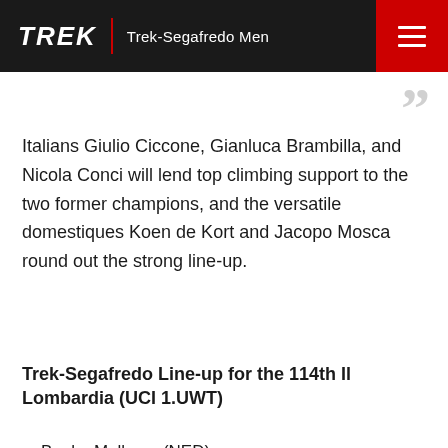TREK | Trek-Segafredo Men
Italians Giulio Ciccone, Gianluca Brambilla, and Nicola Conci will lend top climbing support to the two former champions, and the versatile domestiques Koen de Kort and Jacopo Mosca round out the strong line-up.
Trek-Segafredo Line-up for the 114th Il Lombardia (UCI 1.UWT)
Bauke Mollema (NED)
Vincenzo Nibali (ITA)
Giulio Ciccone (ITA)